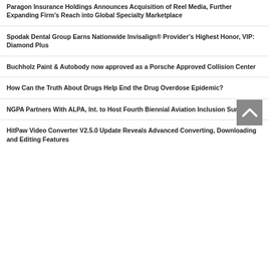Paragon Insurance Holdings Announces Acquisition of Reel Media, Further Expanding Firm’s Reach into Global Specialty Marketplace
Spodak Dental Group Earns Nationwide Invisalign® Provider’s Highest Honor, VIP: Diamond Plus
Buchholz Paint & Autobody now approved as a Porsche Approved Collision Center
How Can the Truth About Drugs Help End the Drug Overdose Epidemic?
NGPA Partners With ALPA, Int. to Host Fourth Biennial Aviation Inclusion Summit
HitPaw Video Converter V2.5.0 Update Reveals Advanced Converting, Downloading and Editing Features